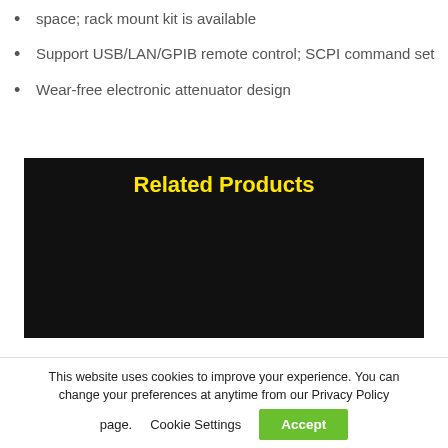space; rack mount kit is available
Support USB/LAN/GPIB remote control; SCPI command set
Wear-free electronic attenuator design
[Figure (other): Related Products banner with black background and yellow bold title text 'Related Products']
This website uses cookies to improve your experience. You can change your preferences at anytime from our Privacy Policy page.
Cookie Settings
Accept